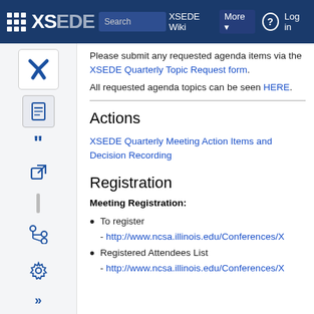XSEDE Wiki | More | Log in
Please submit any requested agenda items via the XSEDE Quarterly Topic Request form.
All requested agenda topics can be seen HERE.
Actions
XSEDE Quarterly Meeting Action Items and Decision Recording
Registration
Meeting Registration:
To register - http://www.ncsa.illinois.edu/Conferences/X
Registered Attendees List - http://www.ncsa.illinois.edu/Conferences/X